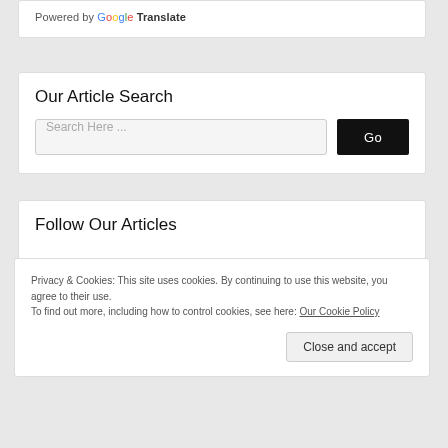Powered by Google Translate
Our Article Search
Search Here ...
Follow Our Articles
Privacy & Cookies: This site uses cookies. By continuing to use this website, you agree to their use.
To find out more, including how to control cookies, see here: Our Cookie Policy
Close and accept